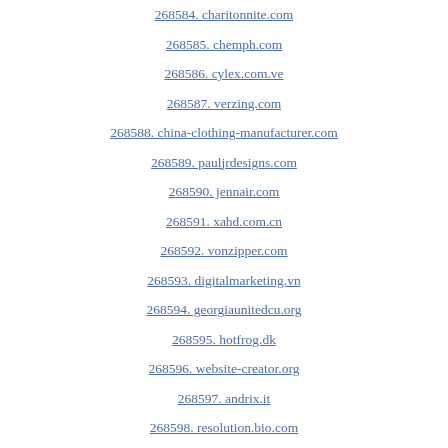268584. charitonnite.com
268585. chemph.com
268586. cylex.com.ve
268587. verzing.com
268588. china-clothing-manufacturer.com
268589. pauljrdesigns.com
268590. jennair.com
268591. xahd.com.cn
268592. vonzipper.com
268593. digitalmarketing.vn
268594. georgiaunitedcu.org
268595. hotfrog.dk
268596. website-creator.org
268597. andrix.it
268598. resolution.bio.com